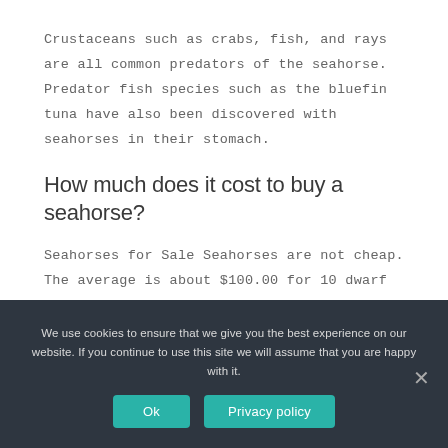Crustaceans such as crabs, fish, and rays are all common predators of the seahorse. Predator fish species such as the bluefin tuna have also been discovered with seahorses in their stomach.
How much does it cost to buy a seahorse?
Seahorses for Sale Seahorses are not cheap. The average is about $100.00 for 10 dwarf horses. This is why you need to do your research to ensure that they will live before spending any money. They also require a lot of care.
We use cookies to ensure that we give you the best experience on our website. If you continue to use this site we will assume that you are happy with it.